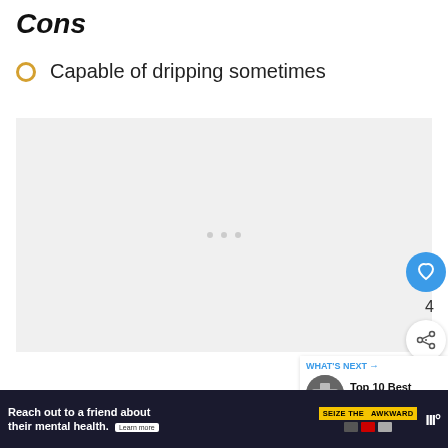Cons
Capable of dripping sometimes
[Figure (other): Advertisement placeholder area with three dots]
[Figure (other): Heart/like button (blue circle with heart icon), count of 4, and share button]
[Figure (other): What's Next panel with thumbnail and text: Top 10 Best Shower...]
[Figure (other): Bottom advertisement banner: Reach out to a friend about their mental health. SEIZE THE AWKWARD. Learn more.]